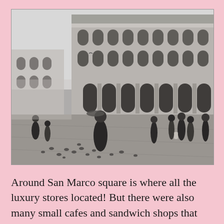[Figure (photo): Black and white photograph of Piazza San Marco (St. Mark's Square) in Venice, Italy. The ornate arcaded Procuratie buildings line the right side. People and pigeons are scattered across the wide stone piazza in the foreground. Overcast sky above.]
Around San Marco square is where all the luxury stores located! But there were also many small cafes and sandwich shops that you can get relatively cheap breakfast and lunch! (We had